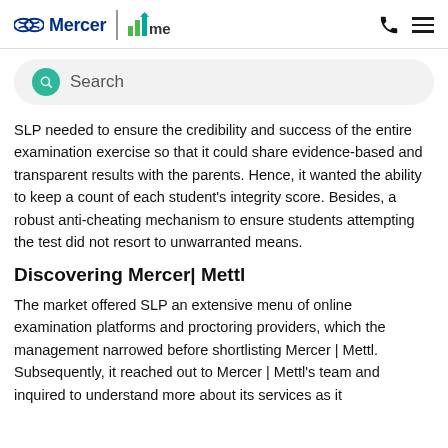Mercer | mettl
SLP needed to ensure the credibility and success of the entire examination exercise so that it could share evidence-based and transparent results with the parents. Hence, it wanted the ability to keep a count of each student's integrity score. Besides, a robust anti-cheating mechanism to ensure students attempting the test did not resort to unwarranted means.
Discovering Mercer| Mettl
The market offered SLP an extensive menu of online examination platforms and proctoring providers, which the management narrowed before shortlisting Mercer | Mettl. Subsequently, it reached out to Mercer | Mettl's team and inquired to understand more about its services as it